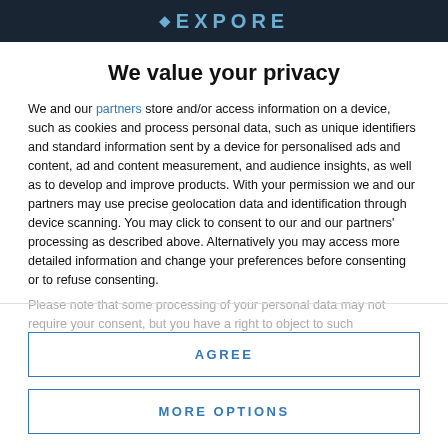EXPORE (logo)
We value your privacy
We and our partners store and/or access information on a device, such as cookies and process personal data, such as unique identifiers and standard information sent by a device for personalised ads and content, ad and content measurement, and audience insights, as well as to develop and improve products. With your permission we and our partners may use precise geolocation data and identification through device scanning. You may click to consent to our and our partners' processing as described above. Alternatively you may access more detailed information and change your preferences before consenting or to refuse consenting.
Please note that some processing of your personal data may not require your consent, but you have a right to object to such
AGREE
MORE OPTIONS